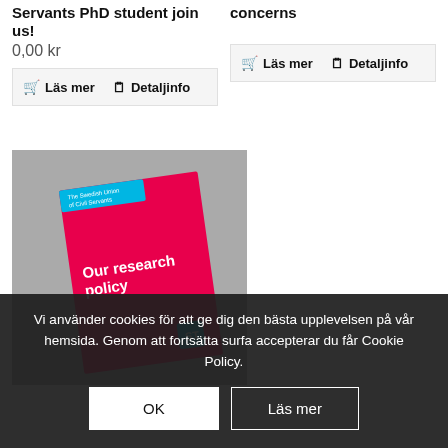Servants PhD student join us!
0,00 kr
🛒 Läs mer   🗒 Detaljinfo
concerns
🛒 Läs mer   🗒 Detaljinfo
[Figure (photo): A pink/red booklet titled 'Our research policy' with 'The Swedish Union of Civil Servants' logo on a gray background]
Vi använder cookies för att ge dig den bästa upplevelsen på vår hemsida. Genom att fortsätta surfa accepterar du får Cookie Policy.
OK
Läs mer